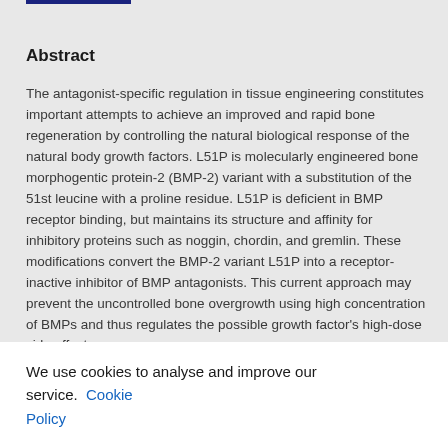Abstract
The antagonist-specific regulation in tissue engineering constitutes important attempts to achieve an improved and rapid bone regeneration by controlling the natural biological response of the natural body growth factors. L51P is molecularly engineered bone morphogentic protein-2 (BMP-2) variant with a substitution of the 51st leucine with a proline residue. L51P is deficient in BMP receptor binding, but maintains its structure and affinity for inhibitory proteins such as noggin, chordin, and gremlin. These modifications convert the BMP-2 variant L51P into a receptor-inactive inhibitor of BMP antagonists. This current approach may prevent the uncontrolled bone overgrowth using high concentration of BMPs and thus regulates the possible growth factor's high-dose side effects.
We use cookies to analyse and improve our service. Cookie Policy